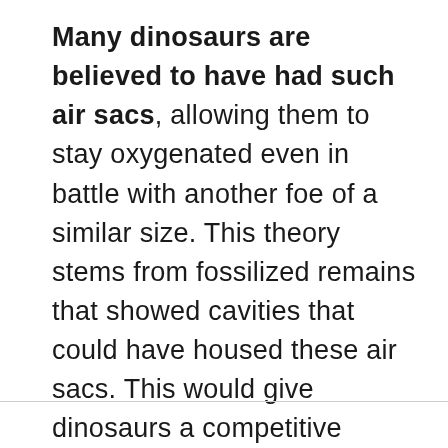Many dinosaurs are believed to have had such air sacs, allowing them to stay oxygenated even in battle with another foe of a similar size. This theory stems from fossilized remains that showed cavities that could have housed these air sacs. This would give dinosaurs a competitive advantage over the prehistoric animal kingdom, leading to their deadly legacy as we know it.